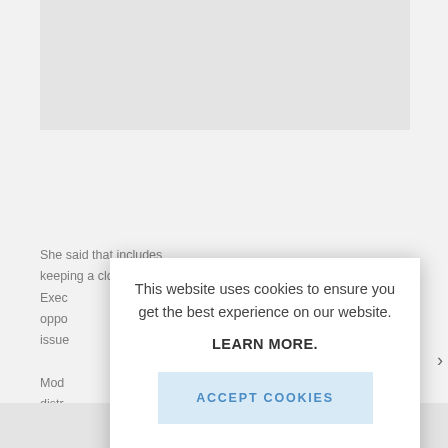[Figure (screenshot): Gray placeholder image box at top of page, background website content]
She said that includes keeping a close eye on Exec oppo issue Mod distr thro the lifes prot
[Figure (screenshot): Cookie consent modal dialog overlay with close button (×), message text, LEARN MORE link, and ACCEPT COOKIES button]
This website uses cookies to ensure you get the best experience on our website.
LEARN MORE.
ACCEPT COOKIES